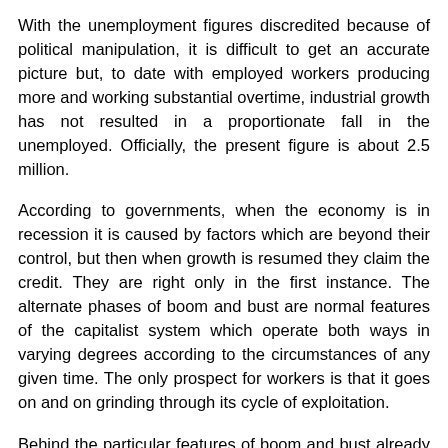With the unemployment figures discredited because of political manipulation, it is difficult to get an accurate picture but, to date with employed workers producing more and working substantial overtime, industrial growth has not resulted in a proportionate fall in the unemployed. Officially, the present figure is about 2.5 million.
According to governments, when the economy is in recession it is caused by factors which are beyond their control, but then when growth is resumed they claim the credit. They are right only in the first instance. The alternate phases of boom and bust are normal features of the capitalist system which operate both ways in varying degrees according to the circumstances of any given time. The only prospect for workers is that it goes on and on grinding through its cycle of exploitation.
Behind the particular features of boom and bust already mentioned there is a general cause which is the nature of capitalist production itself. In previous societies, what mainly happened was that productive resources were used to their